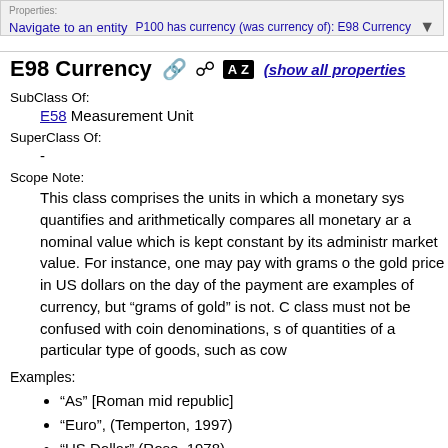Properties: Navigate to an entity — P100 has currency (was currency of): E98 Currency
E98 Currency (show all properties)
SubClass Of:
E58 Measurement Unit
SuperClass Of:
-
Scope Note:
This class comprises the units in which a monetary sys quantifies and arithmetically compares all monetary ar a nominal value which is kept constant by its administr market value. For instance, one may pay with grams o the gold price in US dollars on the day of the payment are examples of currency, but “grams of gold” is not. C class must not be confused with coin denominations, s of quantities of a particular type of goods, such as cow
Examples:
“As” [Roman mid republic]
“Euro”, (Temperton, 1997)
“US Dollar” (Rose, 1978)